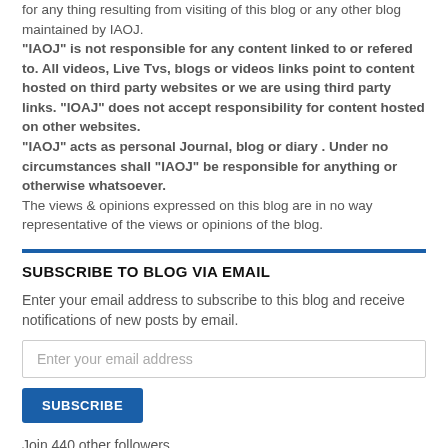for any thing resulting from visiting of this blog or any other blog maintained by IAOJ. "IAOJ" is not responsible for any content linked to or refered to. All videos, Live Tvs, blogs or videos links point to content hosted on third party websites or we are using third party links. "IOAJ" does not accept responsibility for content hosted on other websites. "IAOJ" acts as personal Journal, blog or diary . Under no circumstances shall "IAOJ" be responsible for anything or otherwise whatsoever. The views & opinions expressed on this blog are in no way representative of the views or opinions of the blog.
SUBSCRIBE TO BLOG VIA EMAIL
Enter your email address to subscribe to this blog and receive notifications of new posts by email.
Enter your email address
SUBSCRIBE
Join 440 other followers